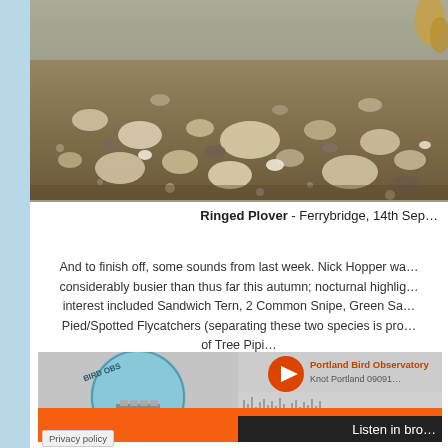[Figure (photo): Close-up photo of pebble beach with rocks and gravel, bird legs visible at top right]
Ringed Plover - Ferrybridge, 14th Sep…
And to finish off, some sounds from last week. Nick Hopper wa… considerably busier than thus far this autumn; nocturnal highlig… interest included Sandwich Tern, 2 Common Snipe, Green Sa… Pied/Spotted Flycatchers (separating these two species is pro… of Tree Pipi…
[Figure (screenshot): SoundCloud embedded player widget for Portland Bird Observatory recording, Knot Portland 09091…, with orange Play on SoundCloud bar and Listen in browser button]